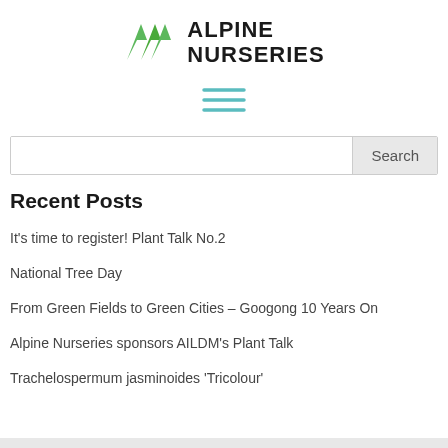[Figure (logo): Alpine Nurseries logo with green mountain/arrow icon and bold black text reading ALPINE NURSERIES]
[Figure (other): Hamburger menu icon with three teal horizontal lines]
Search
Recent Posts
It's time to register! Plant Talk No.2
National Tree Day
From Green Fields to Green Cities – Googong 10 Years On
Alpine Nurseries sponsors AILDM's Plant Talk
Trachelospermum jasminoides 'Tricolour'